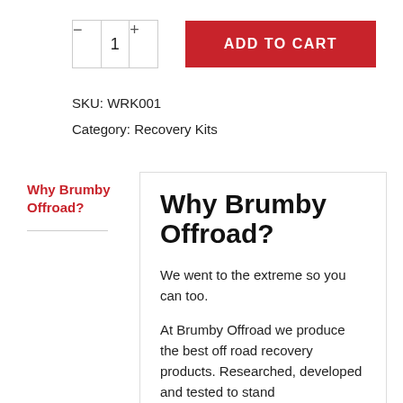[Figure (screenshot): Quantity selector input with minus and plus buttons, showing value 1]
ADD TO CART
SKU: WRK001
Category: Recovery Kits
Why Brumby Offroad?
Why Brumby Offroad?
We went to the extreme so you can too.

At Brumby Offroad we produce the best off road recovery products. Researched, developed and tested to stand